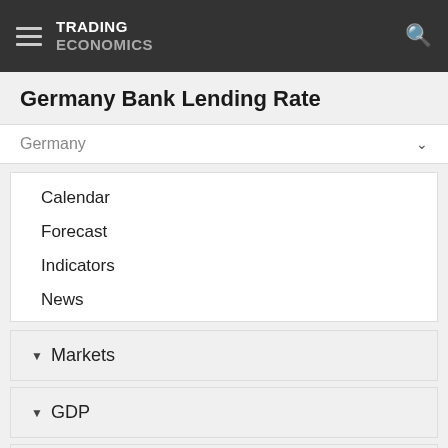TRADING ECONOMICS
Germany Bank Lending Rate
Germany
Calendar
Forecast
Indicators
News
Markets
GDP
Labour
Prices